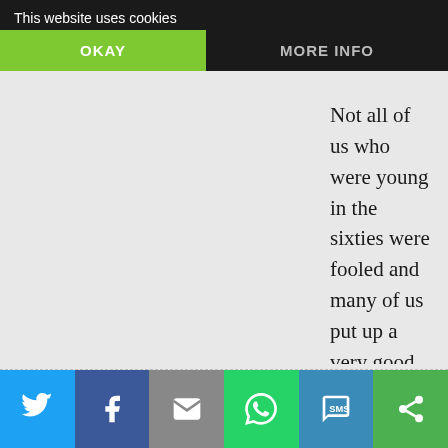This website uses cookies
Not all of us who were young in the sixties were fooled and many of us put up a very good fight. It was a tidal wave of desacralization, condensation for believers and doctrinal aberrations....and very difficult to stop. Lord knows we tried.
Reply
Social share bar: Twitter, Facebook, Email, WhatsApp, SMS, Share